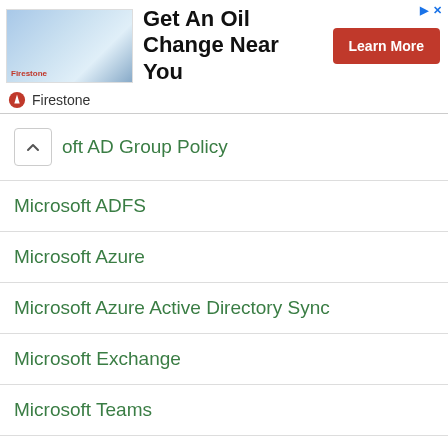[Figure (screenshot): Firestone advertisement banner with store photo, text 'Get An Oil Change Near You', and a red 'Learn More' button]
oft AD Group Policy
Microsoft ADFS
Microsoft Azure
Microsoft Azure Active Directory Sync
Microsoft Exchange
Microsoft Teams
Monitoring
Networking
Office 365
Pentest